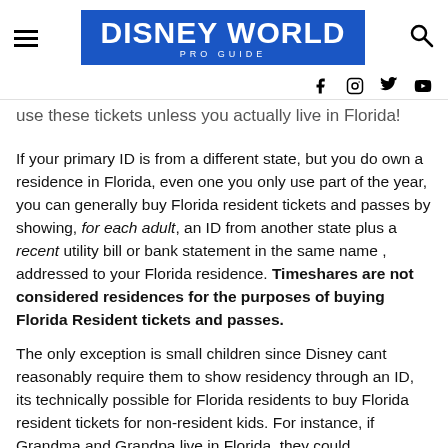DISNEY WORLD PRO GUIDE
use these tickets unless you actually live in Florida!
If your primary ID is from a different state, but you do own a residence in Florida, even one you only use part of the year, you can generally buy Florida resident tickets and passes by showing, for each adult, an ID from another state plus a recent utility bill or bank statement in the same name , addressed to your Florida residence. Timeshares are not considered residences for the purposes of buying Florida Resident tickets and passes.
The only exception is small children since Disney cant reasonably require them to show residency through an ID, its technically possible for Florida residents to buy Florida resident tickets for non-resident kids. For instance, if Grandma and Grandpa live in Florida, they could accompany